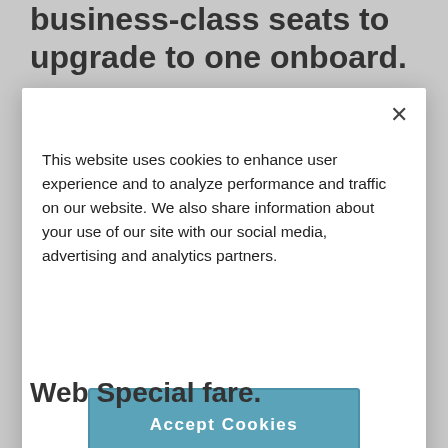business-class seats to upgrade to one onboard.
[Figure (screenshot): Cookie consent modal dialog with close (×) button, cookie usage explanation text, an 'Accept Cookies' button in teal/blue, and a 'Cookie Preferences' link]
Web Special fare.